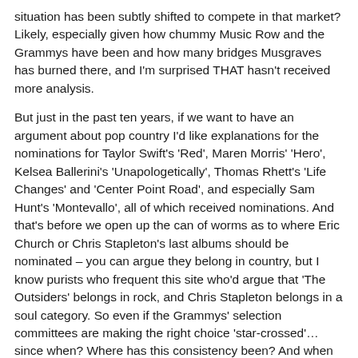situation has been subtly shifted to compete in that market? Likely, especially given how chummy Music Row and the Grammys have been and how many bridges Musgraves has burned there, and I'm surprised THAT hasn't received more analysis.
But just in the past ten years, if we want to have an argument about pop country I'd like explanations for the nominations for Taylor Swift's 'Red', Maren Morris' 'Hero', Kelsea Ballerini's 'Unapologetically', Thomas Rhett's 'Life Changes' and 'Center Point Road', and especially Sam Hunt's 'Montevallo', all of which received nominations. And that's before we open up the can of worms as to where Eric Church or Chris Stapleton's last albums should be nominated – you can argue they belong in country, but I know purists who frequent this site who'd argue that 'The Outsiders' belongs in rock, and Chris Stapleton belongs in a soul category. So even if the Grammys' selection committees are making the right choice 'star-crossed'… since when? Where has this consistency been? And when we get the next list of nominees, what's the odds we're going to get another borderline project?
Couple that with the weird amount of publicity that got circulated around the Grammys making that choice this many months in advance, and something feels off, even if (again), I'd agree that this is a pop album. And I think trying to reframe the conversation as 'Kacey leaning into systemic gender bias as an excuse' is